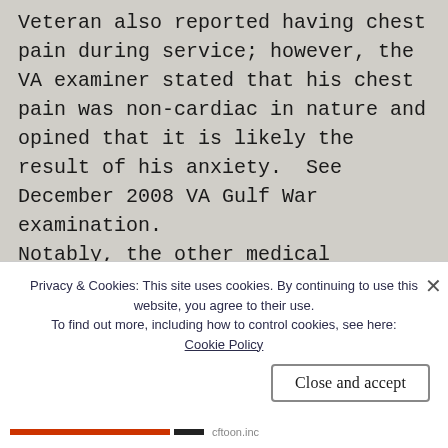Veteran also reported having chest pain during service; however, the VA examiner stated that his chest pain was non-cardiac in nature and opined that it is likely the result of his anxiety.  See December 2008 VA Gulf War examination.
Notably, the other medical evidence of record does not contain any complaints, treatment, or diagnoses related to any other cardiovascular signs or symptoms.  Therefore, the
Privacy & Cookies: This site uses cookies. By continuing to use this website, you agree to their use.
To find out more, including how to control cookies, see here:
Cookie Policy
Close and accept